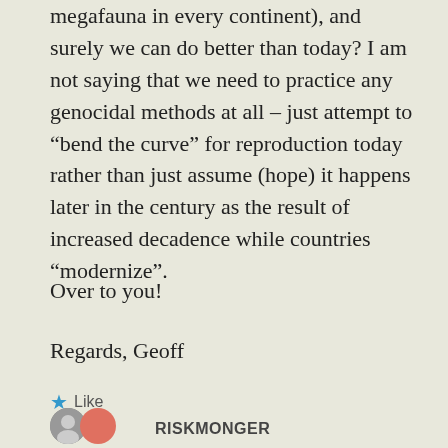megafauna in every continent), and surely we can do better than today? I am not saying that we need to practice any genocidal methods at all – just attempt to “bend the curve” for reproduction today rather than just assume (hope) it happens later in the century as the result of increased decadence while countries “modernize”.
Over to you!
Regards, Geoff
★ Like
RISKMONGER